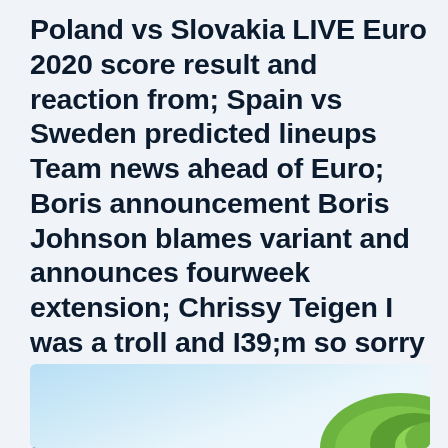Poland vs Slovakia LIVE Euro 2020 score result and reaction from; Spain vs Sweden predicted lineups Team news ahead of Euro; Boris announcement Boris Johnson blames variant and announces fourweek extension; Chrissy Teigen I was a troll and I39;m so sorry CNN; Spain vs Sweden LIVE Euro 2020 latest score goals and updates
[Figure (photo): Partial image showing a light blue sky and what appears to be a football/soccer pitch surface in the bottom right corner]